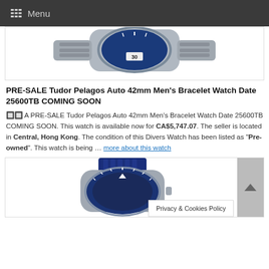Menu
[Figure (photo): Tudor Pelagos watch with blue dial and steel bracelet, partial top view]
PRE-SALE Tudor Pelagos Auto 42mm Men's Bracelet Watch Date 25600TB COMING SOON
🔲🔲 A PRE-SALE Tudor Pelagos Auto 42mm Men's Bracelet Watch Date 25600TB COMING SOON. This watch is available now for CA$5,747.07. The seller is located in Central, Hong Kong. The condition of this Divers Watch has been listed as "Pre-owned". This watch is being … more about this watch
[Figure (photo): Tudor Pelagos watch with blue fabric/nato strap and blue dial, partial view]